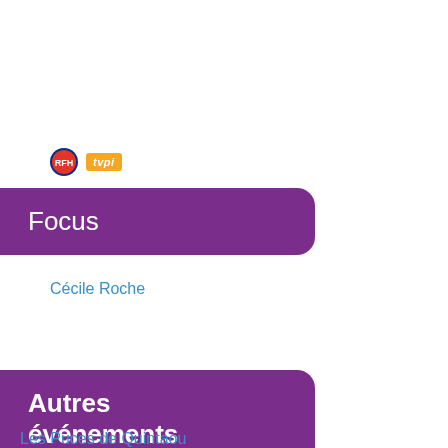[Figure (logo): RFH circular logo and tvpi orange rectangular logo side by side]
Focus
Cécile Roche
Autres événements
Les Puces de Quintaou